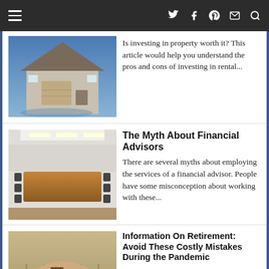Navigation bar with hamburger menu and social icons (Twitter, Facebook, Pinterest, Mail, Search)
[Figure (photo): House exterior with blue sky at dusk, reflecting in puddle on driveway]
Is investing in property worth it? This article would help you understand the pros and cons of investing in rental...
[Figure (photo): Conference room with chairs around a table and overhead lighting]
The Myth About Financial Advisors
There are several myths about employing the services of a financial advisor. People have some misconception about working with these...
[Figure (photo): Elderly person's hands clasped over a cane, wearing plaid shirt]
Information On Retirement: Avoid These Costly Mistakes During the Pandemic
The COVID-19 pandemic that started late 2019 is still as deadly and as widespread as it was at the beginning...
Ecoin Official: What Are The